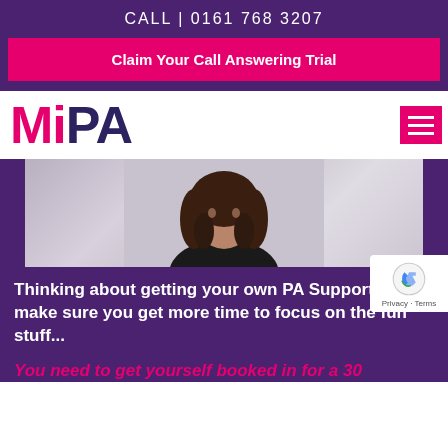CALL | 0161 768 3207
Claim Your Call Answering Trial
MiPA
[Figure (photo): Photo of a woman with dark hair wearing a black top, upper body portrait against a light background]
Thinking about getting your own PA Support to make sure you get more time to focus on the fun stuff...
You need to get yourself booked in for a 30